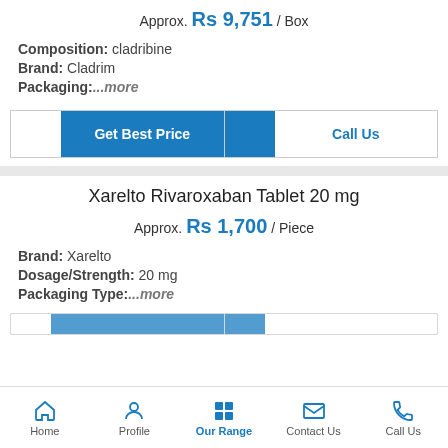Approx. Rs 9,751 / Box
Composition: cladribine
Brand: Cladrim
Packaging: ...more
Get Best Price | Call Us
Xarelto Rivaroxaban Tablet 20 mg
Approx. Rs 1,700 / Piece
Brand: Xarelto
Dosage/Strength: 20 mg
Packaging Type: ...more
Home | Profile | Our Range | Contact Us | Call Us